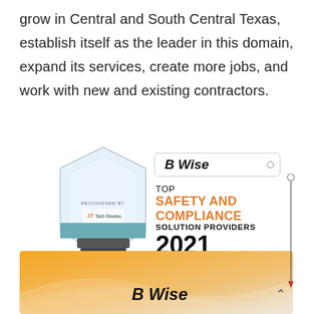grow in Central and South Central Texas, establish itself as the leader in this domain, expand its services, create more jobs, and work with new and existing contractors.
[Figure (illustration): Award trophy graphic recognizing B Wise as Top Safety and Compliance Solution Providers 2021 by IT Tech Review]
[Figure (illustration): Bottom banner with orange gradient background showing B Wise logo text]